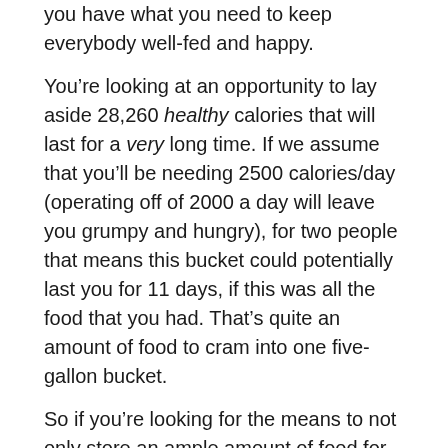you have what you need to keep everybody well-fed and happy.
You're looking at an opportunity to lay aside 28,260 healthy calories that will last for a very long time. If we assume that you'll be needing 2500 calories/day (operating off of 2000 a day will leave you grumpy and hungry), for two people that means this bucket could potentially last you for 11 days, if this was all the food that you had. That's quite an amount of food to cram into one five-gallon bucket.
So if you're looking for the means to not only store an ample amount of food for your family in a convenient to access format, but you're also looking for a way to bake your own post-disaster bread, I liked the Chef's Banquet Food Storage Basics Bucket and I think you